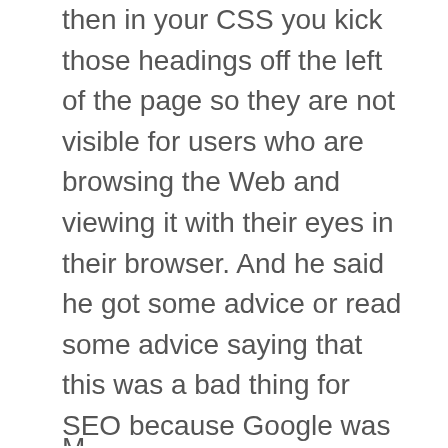then in your CSS you kick those headings off the left of the page so they are not visible for users who are browsing the Web and viewing it with their eyes in their browser. And he said he got some advice or read some advice saying that this was a bad thing for SEO because Google was going to identify that that text was being hidden with CSS and would penalize if not completely blacklist your site as a result. Now this was a concerning thing for him to read because I know I do the exact same thing, this is common practice for web designers who want to go the extra mile for accessibility. What's your take on this Kristen?
M...